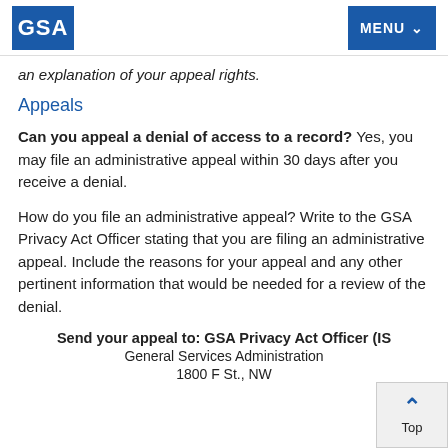GSA | MENU
an explanation of your appeal rights.
Appeals
Can you appeal a denial of access to a record? Yes, you may file an administrative appeal within 30 days after you receive a denial.
How do you file an administrative appeal? Write to the GSA Privacy Act Officer stating that you are filing an administrative appeal. Include the reasons for your appeal and any other pertinent information that would be needed for a review of the denial.
Send your appeal to: GSA Privacy Act Officer (IS
General Services Administration
1800 F St., NW